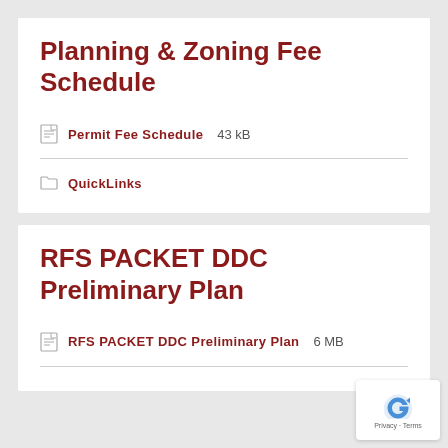Planning & Zoning Fee Schedule
Permit Fee Schedule  43 kB
QuickLinks
RFS PACKET DDC Preliminary Plan
RFS PACKET DDC Preliminary Plan  6 MB